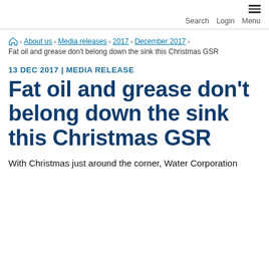Search  Login  Menu
Home › About us › Media releases › 2017 › December 2017 ›
Fat oil and grease don't belong down the sink this Christmas GSR
13 DEC 2017 | MEDIA RELEASE
Fat oil and grease don't belong down the sink this Christmas GSR
With Christmas just around the corner, Water Corporation